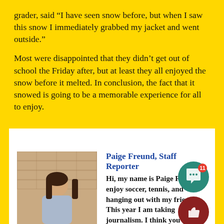grader, said “I have seen snow before, but when I saw this snow I immediately grabbed my jacket and went outside.”
Most were disappointed that they didn’t get out of school the Friday after, but at least they all enjoyed the snow before it melted. In conclusion, the fact that it snowed is going to be a memorable experience for all to enjoy.
[Figure (photo): Photo of Paige Freund, a young woman with long dark hair, smiling in front of a brick wall]
Paige Freund, Staff Reporter
Hi, my name is Paige Freund. I enjoy soccer, tennis, and hanging out with my friends. This year I am taking journalism. I think you should join journalism...